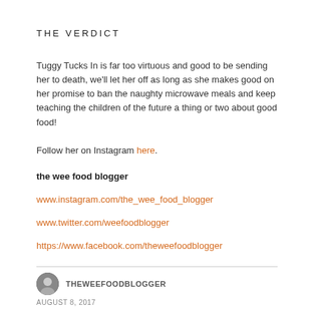THE VERDICT
Tuggy Tucks In is far too virtuous and good to be sending her to death, we'll let her off as long as she makes good on her promise to ban the naughty microwave meals and keep teaching the children of the future a thing or two about good food!
Follow her on Instagram here.
the wee food blogger
www.instagram.com/the_wee_food_blogger
www.twitter.com/weefoodblogger
https://www.facebook.com/theweefoodblogger
THEWEEFOODBLOGGER
AUGUST 8, 2017